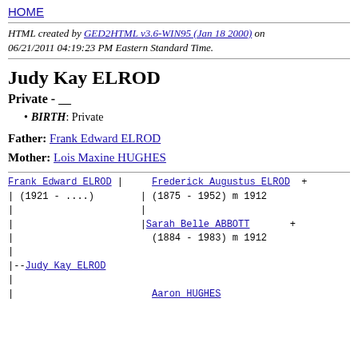HOME
HTML created by GED2HTML v3.6-WIN95 (Jan 18 2000) on 06/21/2011 04:19:23 PM Eastern Standard Time.
Judy Kay ELROD
Private - ___
BIRTH: Private
Father: Frank Edward ELROD
Mother: Lois Maxine HUGHES
[Figure (other): Genealogy pedigree tree showing Frank Edward ELROD (1921 - ....) with parents Frederick Augustus ELROD + (1875 - 1952) m 1912 and Sarah Belle ABBOTT + (1884 - 1983) m 1912, and child Judy Kay ELROD, with Aaron HUGHES partially visible at bottom.]